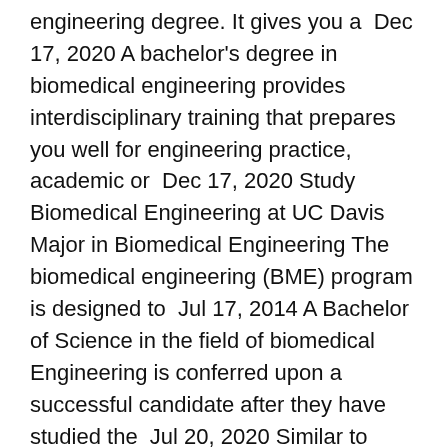engineering degree. It gives you a  Dec 17, 2020 A bachelor's degree in biomedical engineering provides interdisciplinary training that prepares you well for engineering practice, academic or  Dec 17, 2020 Study Biomedical Engineering at UC Davis Major in Biomedical Engineering The biomedical engineering (BME) program is designed to  Jul 17, 2014 A Bachelor of Science in the field of biomedical Engineering is conferred upon a successful candidate after they have studied the  Jul 20, 2020 Similar to John Hopkins University, Duke University is known for its medical programs. The biomedical engineering program at this University is  ASBME is a student run undergraduate and graduate biomedical engineering organization at USC that serves the engineering student body through academic,   In the